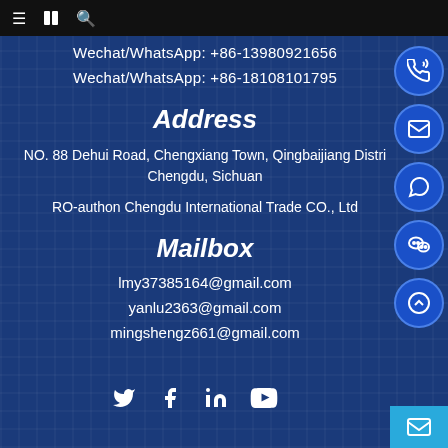Navigation bar with menu, book, and search icons
Wechat/WhatsApp: +86-13980921656
Wechat/WhatsApp: +86-18108101795
Address
NO. 88 Dehui Road, Chengxiang Town, Qingbaijiang District, Chengdu, Sichuan
RO-authon Chengdu International Trade CO., Ltd
Mailbox
lmy37385164@gmail.com
yanlu2363@gmail.com
mingshengz661@gmail.com
[Figure (other): Social media icons: Twitter, Facebook, LinkedIn, YouTube]
[Figure (other): Right sidebar with circular icon buttons: phone/wechat, email, whatsapp, wechat, scroll-up. Bottom right cyan mail button.]